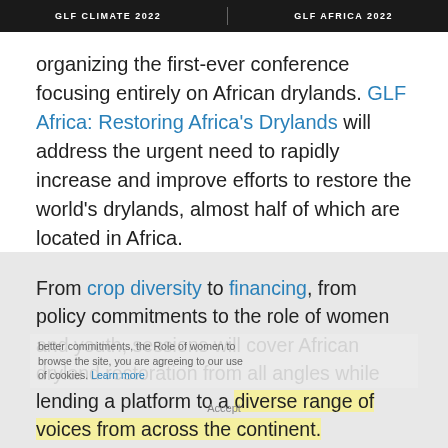GLF CLIMATE 2022 | GLF AFRICA 2022
organizing the first-ever conference focusing entirely on African drylands. GLF Africa: Restoring Africa's Drylands will address the urgent need to rapidly increase and improve efforts to restore the world's drylands, almost half of which are located in Africa.
From crop diversity to financing, from policy commitments to the role of women and youth, sessions will cover African dryland restoration from all angles while lending a platform to a diverse range of voices from across the continent.